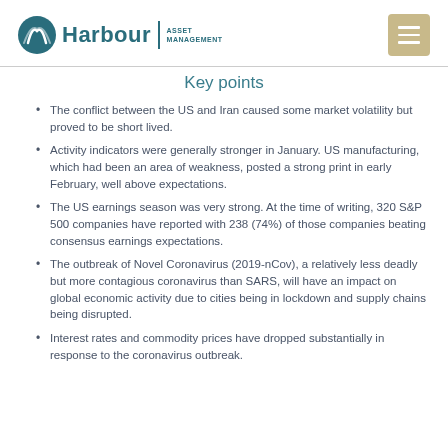Harbour Asset Management
Key points
The conflict between the US and Iran caused some market volatility but proved to be short lived.
Activity indicators were generally stronger in January. US manufacturing, which had been an area of weakness, posted a strong print in early February, well above expectations.
The US earnings season was very strong. At the time of writing, 320 S&P 500 companies have reported with 238 (74%) of those companies beating consensus earnings expectations.
The outbreak of Novel Coronavirus (2019-nCov), a relatively less deadly but more contagious coronavirus than SARS, will have an impact on global economic activity due to cities being in lockdown and supply chains being disrupted.
Interest rates and commodity prices have dropped substantially in response to the coronavirus outbreak.